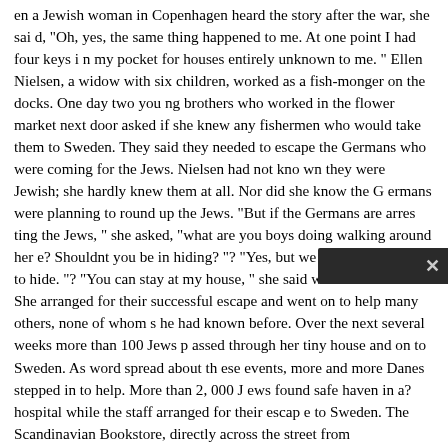en a Jewish woman in Copenhagen heard the story after the war, she said, "Oh, yes, the same thing happened to me. At one point I had four keys in my pocket for houses entirely unknown to me. " Ellen Nielsen, a widow with six children, worked as a fish-monger on the docks. One day two young brothers who worked in the flower market next door asked if she knew any fishermen who would take them to Sweden. They said they needed to escape the Germans who were coming for the Jews. Nielsen had not known they were Jewish; she hardly knew them at all. Nor did she know the Germans were planning to round up the Jews. "But if the Germans are arresting the Jews, " she asked, "what are you boys doing walking around here? Shouldnt you be in hiding? "? "Yes, but we dont know where to hide. "? "You can stay at my house, " she said without hesitation. She arranged for their successful escape and went on to help many others, none of whom she had known before. Over the next several weeks more than 100 Jews passed through her tiny house and on to Sweden. As word spread about these events, more and more Danes stepped in to help. More than 2, 000 Jews found safe haven in a?hospital while the staff arranged for their escape to Sweden. The Scandinavian Bookstore, directly across the street from Copenhagens Gestapo headquarters, was used as a gathering place to shelter Jews while plans were made for boats to take them to Sweden. Whenever a book by a certain poet was displayed in the window, that was a s